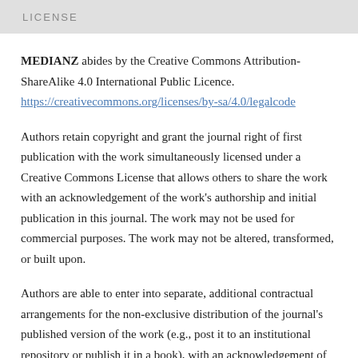LICENSE
MEDIANZ abides by the Creative Commons Attribution-ShareAlike 4.0 International Public Licence.
https://creativecommons.org/licenses/by-sa/4.0/legalcode
Authors retain copyright and grant the journal right of first publication with the work simultaneously licensed under a Creative Commons License that allows others to share the work with an acknowledgement of the work's authorship and initial publication in this journal. The work may not be used for commercial purposes. The work may not be altered, transformed, or built upon.
Authors are able to enter into separate, additional contractual arrangements for the non-exclusive distribution of the journal's published version of the work (e.g., post it to an institutional repository or publish it in a book), with an acknowledgement of